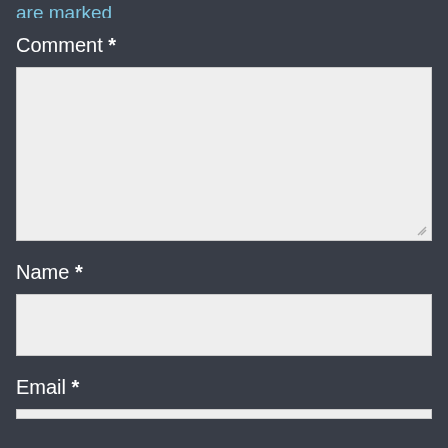are marked
Comment *
[Figure (other): Large textarea input box with resize handle in bottom-right corner]
Name *
[Figure (other): Small single-line text input box]
Email *
[Figure (other): Partially visible input box at bottom of page]